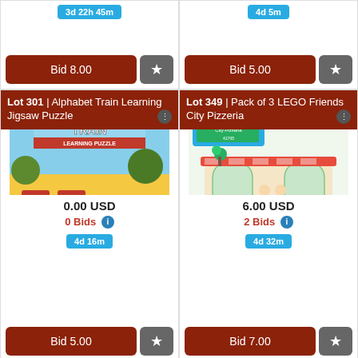3d 22h 45m
4d 5m
Bid 8.00
Bid 5.00
Lot 301 | Alphabet Train Learning Jigsaw Puzzle
[Figure (photo): Alphabet Train Learning Puzzle product image]
0.00 USD
0 Bids
4d 16m
Bid 5.00
Lot 349 | Pack of 3 LEGO Friends City Pizzeria
[Figure (photo): LEGO Friends City Pizzeria product image]
6.00 USD
2 Bids
4d 32m
Bid 7.00